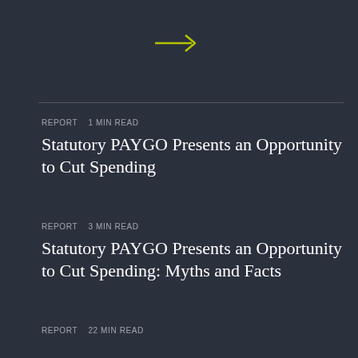[Figure (illustration): Dark background with engraved currency-style portrait illustration and arrow icon]
REPORT  1 min read
Statutory PAYGO Presents an Opportunity to Cut Spending
REPORT  3 min read
Statutory PAYGO Presents an Opportunity to Cut Spending: Myths and Facts
REPORT  22 min read